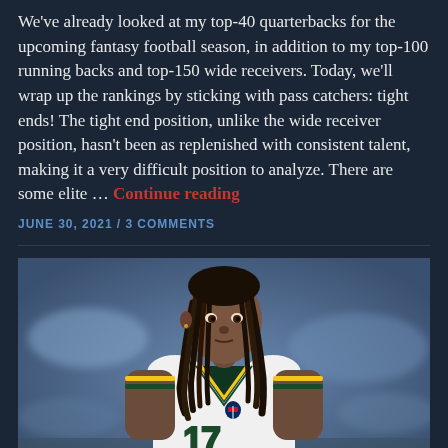We've already looked at my top-40 quarterbacks for the upcoming fantasy football season, in addition to my top-100 running backs and top-150 wide receivers. Today, we'll wrap up the rankings by sticking with pass catchers: tight ends! The tight end position, unlike the wide receiver position, hasn't been as replenished with consistent talent, making it a very difficult position to analyze. There are some elite … Continue reading
JUNE 30, 2021 / 3 COMMENTS
[Figure (photo): Football player wearing Green Bay Packers white jersey number 17 with green and gold trim, dreadlocks, looking to the side, blurred crowd background]